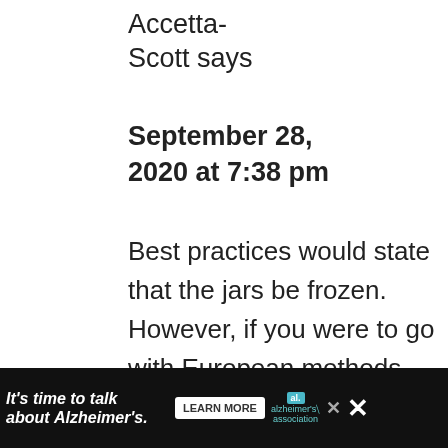Accetta-Scott says
September 28, 2020 at 7:38 pm
Best practices would state that the jars be frozen. However, if you were to go with European methods
[Figure (infographic): Social sharing sidebar on left with Facebook and Pinterest icons and count 1.1K, on dark green background]
[Figure (infographic): Right floating panel with heart button on dark green circle (1.1K count) and share button]
It's time to talk about Alzheimer's. LEARN MORE alzheimer's association X